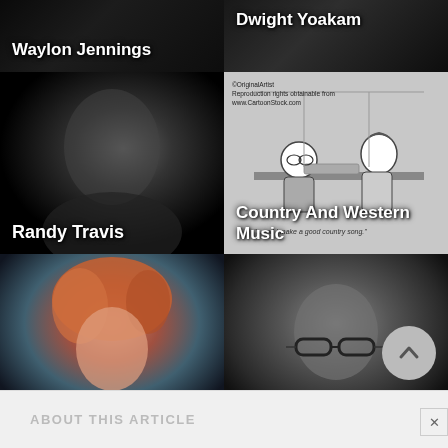[Figure (photo): Dark photo tile with text label 'Waylon Jennings' in white at bottom-left]
[Figure (photo): Dark photo tile with text label 'Dwight Yoakam' in white at top-left]
[Figure (photo): Black and white portrait photo of Randy Travis with label at bottom-left]
[Figure (illustration): Cartoon/illustration of two people at a desk, labeled 'Country And Western Music', with CartoonStock.com watermark]
[Figure (photo): Color photo of Reba Mcentire with red/orange hair, labeled at bottom-left]
[Figure (photo): Photo of Kd Lang wearing glasses, labeled at bottom-left]
ABOUT THIS ARTICLE